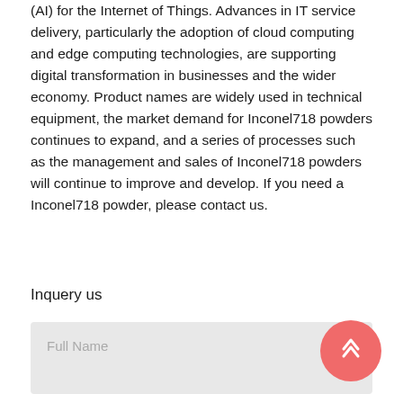(AI) for the Internet of Things. Advances in IT service delivery, particularly the adoption of cloud computing and edge computing technologies, are supporting digital transformation in businesses and the wider economy. Product names are widely used in technical equipment, the market demand for Inconel718 powders continues to expand, and a series of processes such as the management and sales of Inconel718 powders will continue to improve and develop. If you need a Inconel718 powder, please contact us.
Inquery us
Full Name